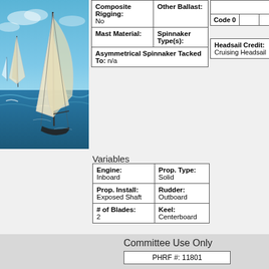[Figure (photo): Sailing race photo showing multiple sailboats on blue ocean water with sails up]
| Composite Rigging: No | Other Ballast: |
| Mast Material: | Spinnaker Type(s): |
| Asymmetrical Spinnaker Tacked To: n/a |  |
| Code 0 |  |  |  |
Headsail Credit: Cruising Headsail
Variables
| Engine: Inboard | Prop. Type: Solid |
| Prop. Install: Exposed Shaft | Rudder: Outboard |
| # of Blades: 2 | Keel: Centerboard |
Committee Use Only
PHRF #: 11801